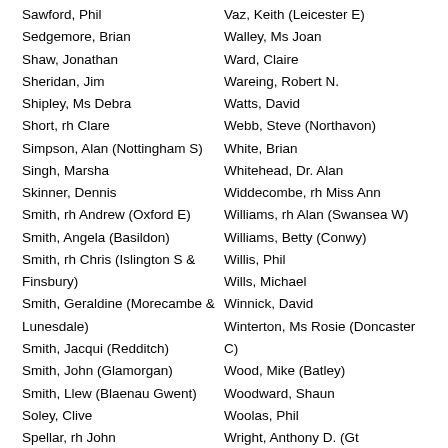Sawford, Phil
Sedgemore, Brian
Shaw, Jonathan
Sheridan, Jim
Shipley, Ms Debra
Short, rh Clare
Simpson, Alan (Nottingham S)
Singh, Marsha
Skinner, Dennis
Smith, rh Andrew (Oxford E)
Smith, Angela (Basildon)
Smith, rh Chris (Islington S & Finsbury)
Smith, Geraldine (Morecambe & Lunesdale)
Smith, Jacqui (Redditch)
Smith, John (Glamorgan)
Smith, Llew (Blaenau Gwent)
Soley, Clive
Spellar, rh John
Squire, Rachel
Starkey, Dr. Phyllis
Steinberg, Gerry
Vaz, Keith (Leicester E)
Walley, Ms Joan
Ward, Claire
Wareing, Robert N.
Watts, David
Webb, Steve (Northavon)
White, Brian
Whitehead, Dr. Alan
Widdecombe, rh Miss Ann
Williams, rh Alan (Swansea W)
Williams, Betty (Conwy)
Willis, Phil
Wills, Michael
Winnick, David
Winterton, Ms Rosie (Doncaster C)
Wood, Mike (Batley)
Woodward, Shaun
Woolas, Phil
Wright, Anthony D. (Gt Yarmouth)
Wright, David (Telford)
Wyatt, Derek